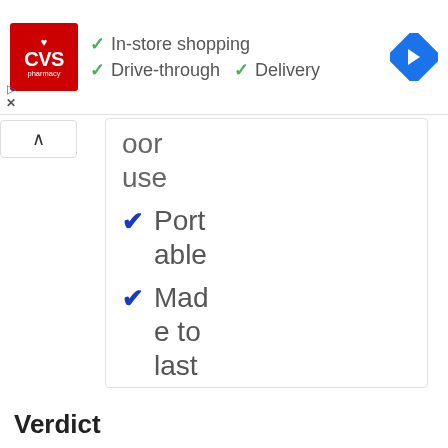[Figure (screenshot): CVS Pharmacy advertisement banner with logo, checkmarks for In-store shopping, Drive-through, and Delivery, plus a blue navigation diamond icon]
oor use
Portable
Made to last
Verdict